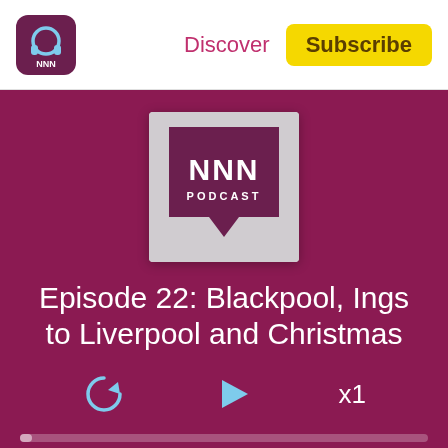[Figure (logo): NNN podcast logo - headphones icon on dark purple rounded square background]
Discover
Subscribe
[Figure (logo): NNN Podcast logo - white NNN text and PODCAST text on dark purple speech bubble shape, on light grey square background]
Episode 22: Blackpool, Ings to Liverpool and Christmas
[Figure (other): Audio player controls: rewind button, play button (triangle), and x1 speed indicator]
00:00
59:26